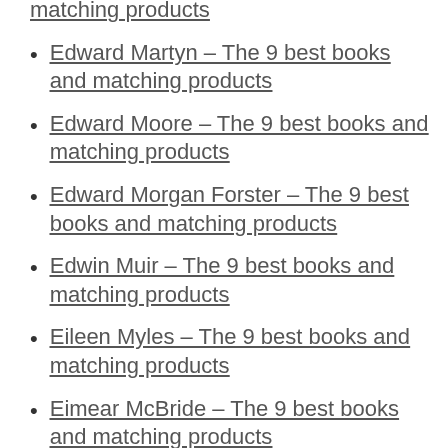[partial] – The 9 best books and matching products
Edward Martyn – The 9 best books and matching products
Edward Moore – The 9 best books and matching products
Edward Morgan Forster – The 9 best books and matching products
Edwin Muir – The 9 best books and matching products
Eileen Myles – The 9 best books and matching products
Eimear McBride – The 9 best books and matching products (partial)